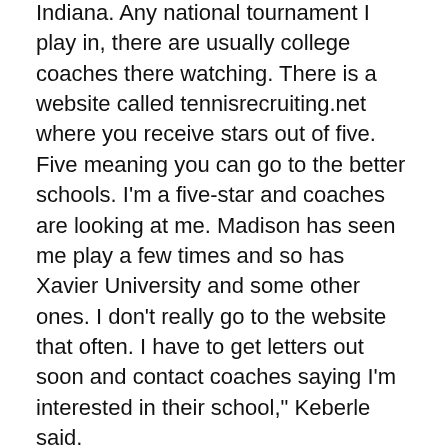Indiana. Any national tournament I play in, there are usually college coaches there watching. There is a website called tennisrecruiting.net where you receive stars out of five. Five meaning you can go to the better schools. I'm a five-star and coaches are looking at me. Madison has seen me play a few times and so has Xavier University and some other ones. I don't really go to the website that often. I have to get letters out soon and contact coaches saying I'm interested in their school," Keberle said.
Keberle also carries a 3.8 GPA, which looks good on any resume.
Becoming a professional is not an impossible goal for Keberle. "I never really sat down and talked to anyone about going pro. Everyone says I can go as far as I want to depending on how hard I keep training. It could be a possibility," Keberle said.